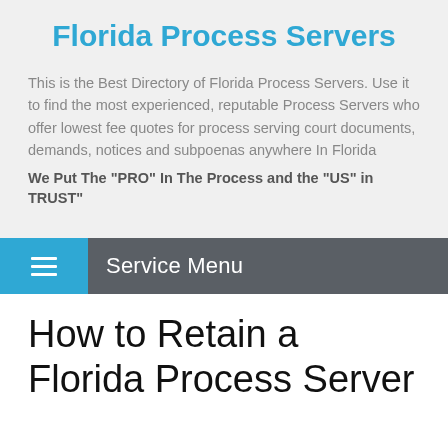Florida Process Servers
This is the Best Directory of Florida Process Servers. Use it to find the most experienced, reputable Process Servers who offer lowest fee quotes for process serving court documents, demands, notices and subpoenas anywhere In Florida
We Put The "PRO" In The Process and the "US" in TRUST"
Service Menu
How to Retain a Florida Process Server